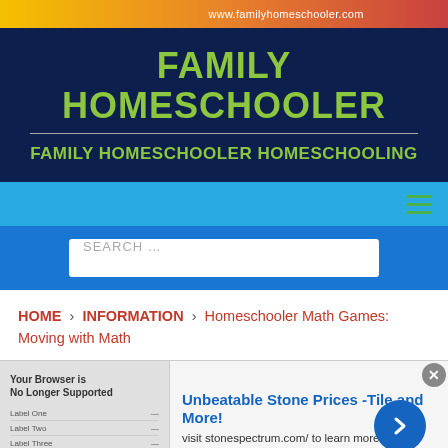www.familyhomeschooler.com
FAMILY HOMESCHOOLER
FAMILY HOMESCHOOLER HOMESCHOOLING
SEARCH …
HOME > INFORMATION > Homeschooler Math Games: Moving with Math
infolinks neschooler Math Games:
Unbeatable Stone Prices -Tile and More! visit stonespectrum.com/ to learn more www.stonespectrum.com